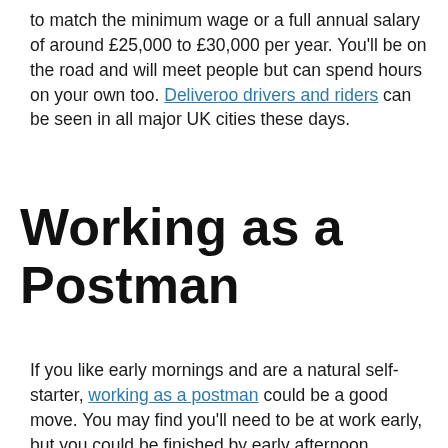to match the minimum wage or a full annual salary of around £25,000 to £30,000 per year. You'll be on the road and will meet people but can spend hours on your own too. Deliveroo drivers and riders can be seen in all major UK cities these days.
Working as a Postman
If you like early mornings and are a natural self-starter, working as a postman could be a good move. You may find you'll need to be at work early, but you could be finished by early afternoon, freeing up your time at home.